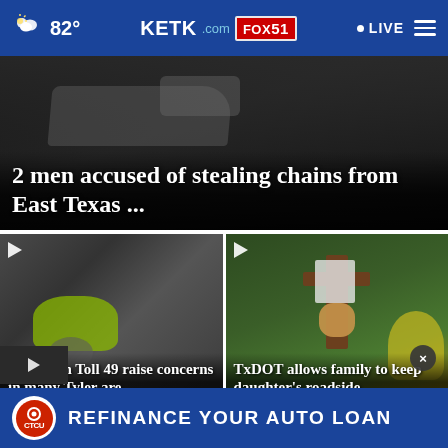82° KETK.com FOX51 LIVE
[Figure (screenshot): Dark car crash scene — hero image background]
2 men accused of stealing chains from East Texas ...
[Figure (screenshot): Car crash on Toll 49 with worker in yellow vest]
Deaths on Toll 49 raise concerns in many Tyler are...
[Figure (screenshot): Roadside memorial with cross, stuffed animal and sunflowers]
TxDOT allows family to keep daughter's roadside ...
[Figure (screenshot): CTCU advertisement banner — Refinance Your Auto Loan]